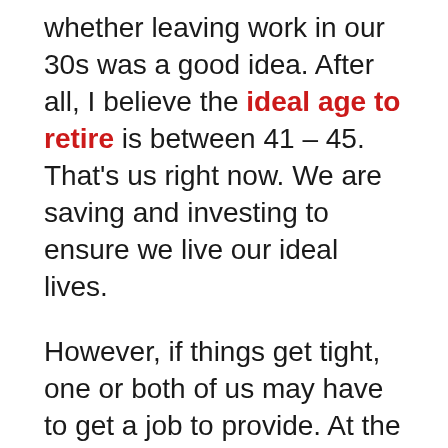whether leaving work in our 30s was a good idea. After all, I believe the ideal age to retire is between 41 – 45. That's us right now. We are saving and investing to ensure we live our ideal lives.
However, if things get tight, one or both of us may have to get a job to provide. At the minimum, we want to be stay at home parents until both our kids get to attend in-person school full-time. That means when our daughter turns five in 2025.
Kids grow up so fast. We might as well spend as much time taking care of them while they are young. Doctors also say the first five years are the most important years for development. We should...